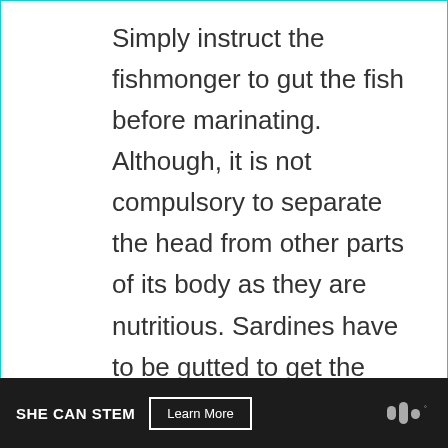Simply instruct the fishmonger to gut the fish before marinating.  Although, it is not compulsory to separate the head from other parts of its body as they are nutritious. Sardines have to be gutted to get the best of it.
Are sprats an oily fish?
All fishes contain oils. One of the common oils in fish is Omega-3 fatty acids. Sardines
SHE CAN STEM  Learn More